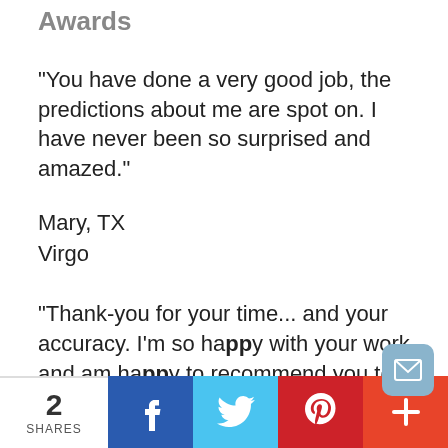Awards
“You have done a very good job, the predictions about me are spot on. I have never been so surprised and amazed.”
Mary, TX
Virgo
“Thank-you for your time... and your accuracy. I’m so happy with your work and am happy to recommend you to others.. thanks again so much!”
Dale, NY
Sagittarius
2 SHARES